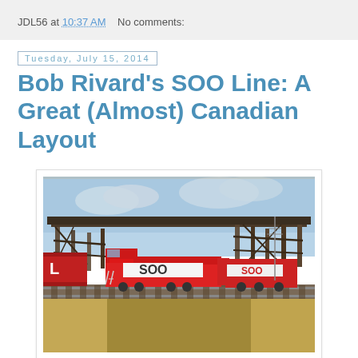JDL56 at 10:37 AM    No comments:
Tuesday, July 15, 2014
Bob Rivard's SOO Line: A Great (Almost) Canadian Layout
[Figure (photo): Model railroad scene showing SOO Line red and white locomotive (numbered with SOO markings) pulling freight cars under a large wooden trestle bridge. Scenery includes dry grass, gravel trackbed, and a cloudy sky backdrop. A red boxcar with 'L' initial is visible on the left.]